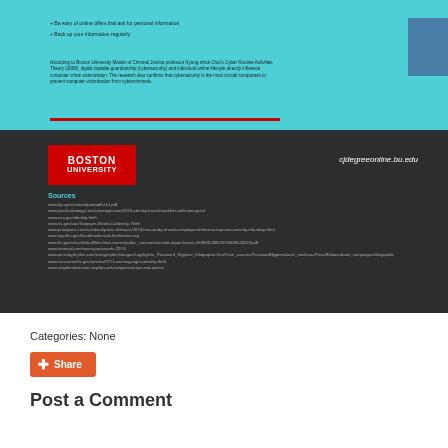[Figure (infographic): Top section of cybersecurity infographic with teal background showing bullet points about online safety and body text about Boston University research. Includes illustration of person walking and blue square placeholder.]
[Figure (infographic): Dark section with Boston University red logo, cjdegreeonline.bu.edu URL, and Sources section listing multiple URLs for cybersecurity references.]
Categories: None
Share
Post a Comment